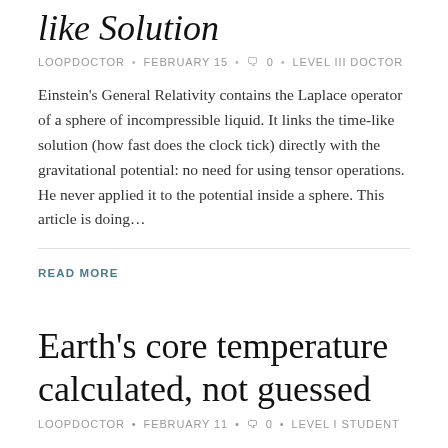like Solution
LOOPDOCTOR • FEBRUARY 15 • 🗨 0 • LEVEL III DOCTOR
Einstein's General Relativity contains the Laplace operator of a sphere of incompressible liquid. It links the time-like solution (how fast does the clock tick) directly with the gravitational potential: no need for using tensor operations. He never applied it to the potential inside a sphere. This article is doing…
READ MORE
Earth's core temperature calculated, not guessed
LOOPDOCTOR • FEBRUARY 11 • 🗨 0 • LEVEL I STUDENT